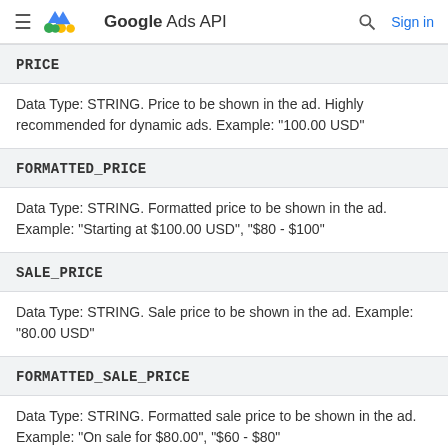Google Ads API
PRICE
Data Type: STRING. Price to be shown in the ad. Highly recommended for dynamic ads. Example: "100.00 USD"
FORMATTED_PRICE
Data Type: STRING. Formatted price to be shown in the ad. Example: "Starting at $100.00 USD", "$80 - $100"
SALE_PRICE
Data Type: STRING. Sale price to be shown in the ad. Example: "80.00 USD"
FORMATTED_SALE_PRICE
Data Type: STRING. Formatted sale price to be shown in the ad. Example: "On sale for $80.00", "$60 - $80"
IMAGE_URL